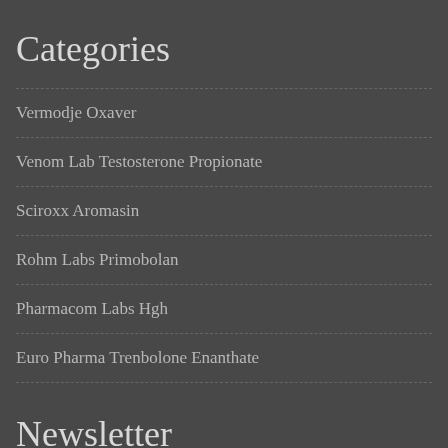Categories
Vermodje Oxaver
Venom Lab Testosterone Propionate
Sciroxx Aromasin
Rohm Labs Primobolan
Pharmacom Labs Hgh
Euro Pharma Trenbolone Enanthate
Newsletter
Sign up to get updates on our products and find out